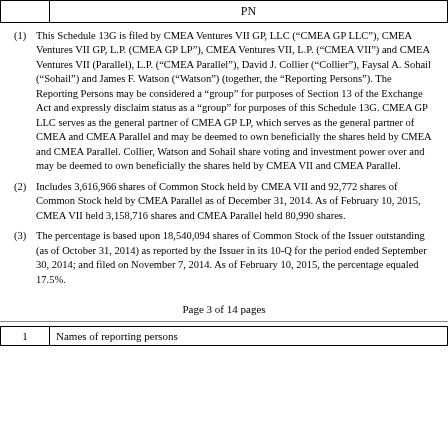|  | PN |
| --- | --- |
(1) This Schedule 13G is filed by CMEA Ventures VII GP, LLC (“CMEA GP LLC”), CMEA Ventures VII GP, L.P. (CMEA GP LP”), CMEA Ventures VII, L.P. (“CMEA VII”) and CMEA Ventures VII (Parallel), L.P. (“CMEA Parallel”), David J. Collier (“Collier”), Faysal A. Sohail (“Sohail”) and James F. Watson (“Watson”) (together, the “Reporting Persons”). The Reporting Persons may be considered a “group” for purposes of Section 13 of the Exchange Act and expressly disclaim status as a “group” for purposes of this Schedule 13G. CMEA GP LLC serves as the general partner of CMEA GP LP, which serves as the general partner of CMEA and CMEA Parallel and may be deemed to own beneficially the shares held by CMEA and CMEA Parallel. Collier, Watson and Sohail share voting and investment power over and may be deemed to own beneficially the shares held by CMEA VII and CMEA Parallel.
(2) Includes 3,616,966 shares of Common Stock held by CMEA VII and 92,772 shares of Common Stock held by CMEA Parallel as of December 31, 2014. As of February 10, 2015, CMEA VII held 3,158,716 shares and CMEA Parallel held 80,990 shares.
(3) The percentage is based upon 18,540,094 shares of Common Stock of the Issuer outstanding (as of October 31, 2014) as reported by the Issuer in its 10-Q for the period ended September 30, 2014; and filed on November 7, 2014. As of February 10, 2015, the percentage equaled 17.5%.
Page 3 of 14 pages
| 1 | Names of reporting persons |
| --- | --- |